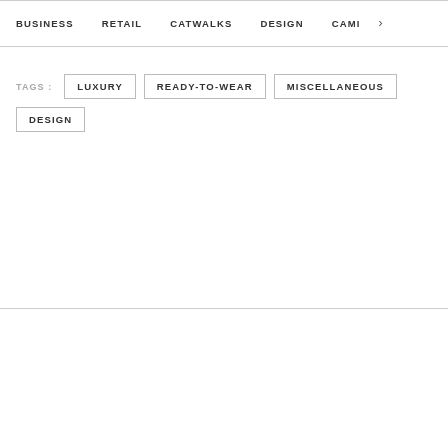BUSINESS   RETAIL   CATWALKS   DESIGN   CAMI >
TAGS :  LUXURY  READY-TO-WEAR  MISCELLANEOUS  DESIGN